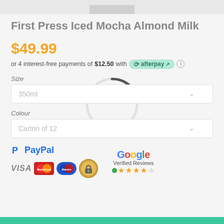[Figure (other): Partial product image placeholder bar at top]
First Press Iced Mocha Almond Milk
$49.99
or 4 interest-free payments of $12.50 with afterpay
Size
350ml
Colour
Carton of 12
[Figure (logo): Payment logos: PayPal, Visa, Mastercard, Maestro, secure lock badge, Google Verified Reviews with stars]